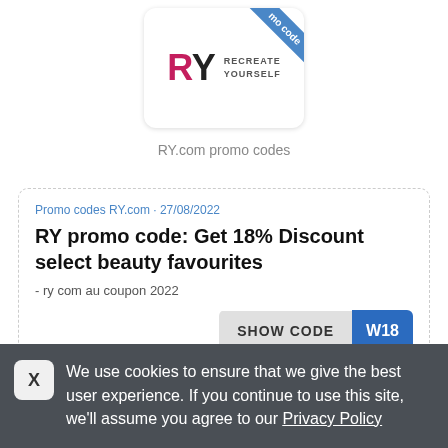[Figure (logo): RY Recreate Yourself logo with blue promo code ribbon in top right corner]
RY.com promo codes
Promo codes RY.com • 27/08/2022
RY promo code: Get 18% Discount select beauty favourites
- ry com au coupon 2022
SHOW CODE W18
We use cookies to ensure that we give the best user experience. If you continue to use this site, we'll assume you agree to our Privacy Policy